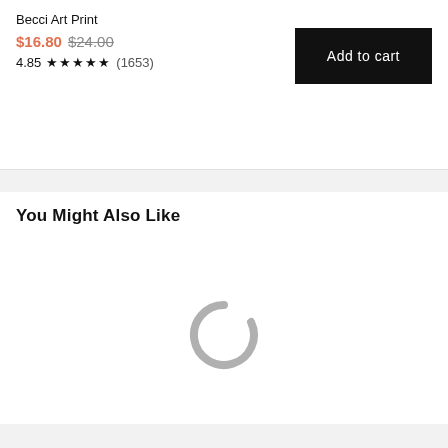Becci Art Print
$16.80 $24.00
4.85 ★★★★★ (1653)
Add to cart
You Might Also Like
[Figure (other): Loading spinner - a gray partial circle (C shape) indicating content is loading]